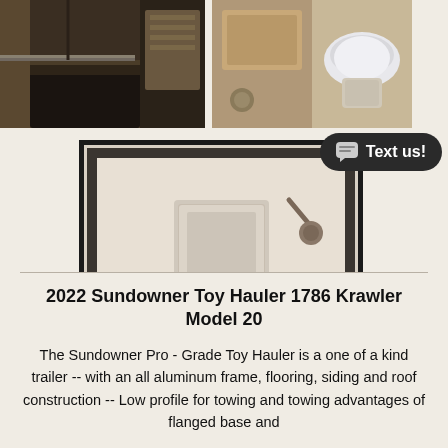[Figure (photo): Interior of trailer showing sleeping area with dark upholstery and wood cabinetry]
[Figure (photo): Bathroom area of trailer showing wood walls and toilet]
[Figure (other): Dark rounded rectangle button with chat icon reading 'Text us!']
[Figure (photo): Shower stall interior with white walls, shower head and fixture, and shower pan]
2022 Sundowner Toy Hauler 1786 Krawler Model 20
The Sundowner Pro - Grade Toy Hauler is a one of a kind trailer -- with an all aluminum frame, flooring, siding and roof construction -- Low profile for towing and towing advantages of flanged base and